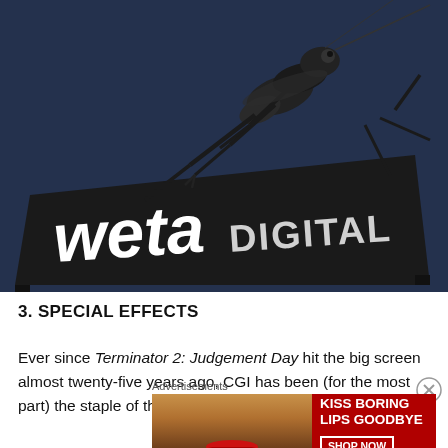[Figure (photo): A large mechanical insect (locust/mantis) perched on top of a Weta Digital company sign/logo against a dark blue sky. The sign features the text 'weta DIGITAL' in white and grey lettering on a dark rectangular board.]
3. SPECIAL EFFECTS
Ever since Terminator 2: Judgement Day hit the big screen almost twenty-five years ago, CGI has been (for the most part) the staple of the effects industry. There’s been
[Figure (illustration): Advertisement banner showing a woman's face with prominent red lipstick on the left. On the right: text KISS BORING LIPS GOODBYE in white bold on red background, a SHOP NOW button outline, and the Macy's logo with star.]